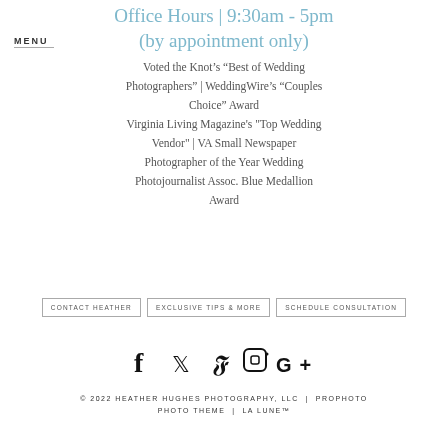Office Hours | 9:30am - 5pm (by appointment only)
MENU
Voted the Knot's “Best of Wedding Photographers” | WeddingWire’s “Couples Choice” Award
Virginia Living Magazine's "Top Wedding Vendor" | VA Small Newspaper Photographer of the Year Wedding Photojournalist Assoc. Blue Medallion Award
CONTACT HEATHER | EXCLUSIVE TIPS & MORE | SCHEDULE CONSULTATION
[Figure (other): Social media icons: Facebook, Twitter, Pinterest, Instagram, Google+]
© 2022 HEATHER HUGHES PHOTOGRAPHY, LLC | PROPHOTO PHOTO THEME | LA LUNE™